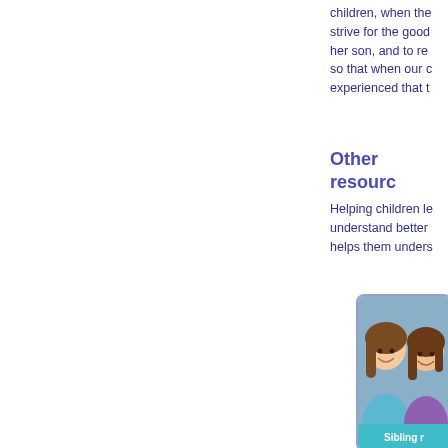children, when the strive for the good her son, and to re so that when our c experienced that t
Other resourc
Helping children le understand better helps them unders
[Figure (photo): Photo of two smiling girls with brown hair, one wearing teal/turquoise top, partially visible. Below the photo is a teal banner with white text reading 'Sibling r']